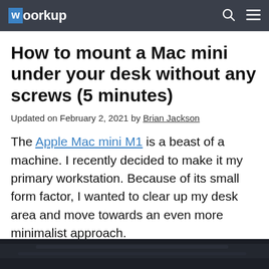woorkup
How to mount a Mac mini under your desk without any screws (5 minutes)
Updated on February 2, 2021 by Brian Jackson
The Apple Mac mini M1 is a beast of a machine. I recently decided to make it my primary workstation. Because of its small form factor, I wanted to clear up my desk area and move towards an even more minimalist approach.
[Figure (photo): Dark background photo strip at bottom of page, showing what appears to be a mounted Mac mini under a desk]